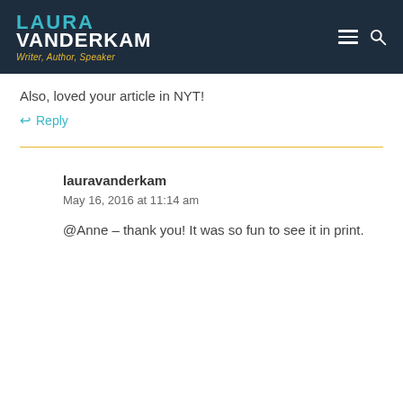LAURA VANDERKAM — Writer, Author, Speaker
Also, loved your article in NYT!
↩ Reply
lauravanderkam
May 16, 2016 at 11:14 am
@Anne – thank you! It was so fun to see it in print.